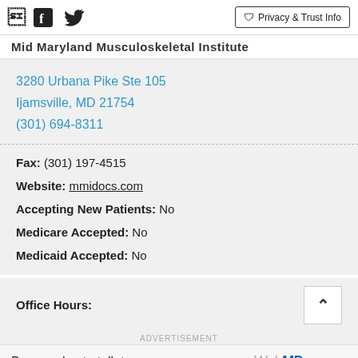Facebook Twitter | Privacy & Trust Info
Mid Maryland Musculoskeletal Institute
3280 Urbana Pike Ste 105
Ijamsville, MD 21754
(301) 694-8311
Fax: (301) 197-4515
Website: mmidocs.com
Accepting New Patients: No
Medicare Accepted: No
Medicaid Accepted: No
Office Hours:
ADVERTISEMENT
Do you plan to talk to your doctor about alopecia areata in the next 30 days?
WebMD Yes
Clicking yes will take you to a new page to learn about Alopecia areata.